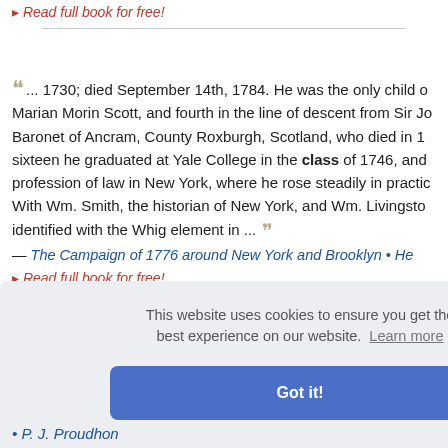Read full book for free!
... 1730; died September 14th, 1784. He was the only child of Marian Morin Scott, and fourth in the line of descent from Sir Jo Baronet of Ancram, County Roxburgh, Scotland, who died in 17 sixteen he graduated at Yale College in the class of 1746, and profession of law in New York, where he rose steadily in practio With Wm. Smith, the historian of New York, and Wm. Livingsto identified with the Whig element in ...
— The Campaign of 1776 around New York and Brooklyn • He
Read full book for free!
This website uses cookies to ensure you get the best experience on our website. Learn more
Got it!
• P. J. Proudhon